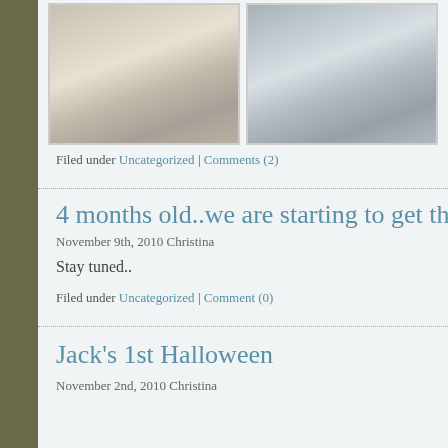[Figure (photo): Two photos side by side: left shows a man holding a baby, right shows a woman, man, and baby at a restaurant table]
Filed under Uncategorized | Comments (2)
4 months old..we are starting to get the hang
November 9th, 2010 Christina
Stay tuned..
Filed under Uncategorized | Comment (0)
Jack's 1st Halloween
November 2nd, 2010 Christina